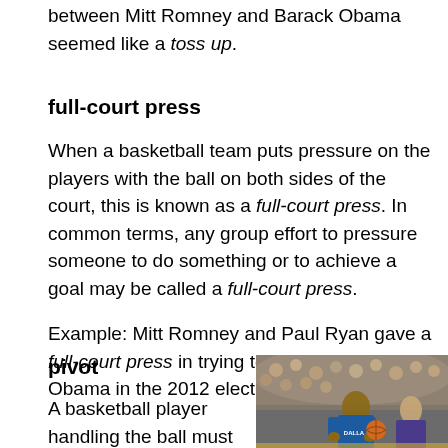between Mitt Romney and Barack Obama seemed like a toss up.
full-court press
When a basketball team puts pressure on the players with the ball on both sides of the court, this is known as a full-court press. In common terms, any group effort to pressure someone to do something or to achieve a goal may be called a full-court press.
Example: Mitt Romney and Paul Ryan gave a full-court press in trying to defeat Barack Obama in the 2012 election.
pivot
A basketball player handling the ball must
[Figure (photo): A basketball player in a Dallas Mavericks blue uniform dribbling a basketball, with crowd in background]